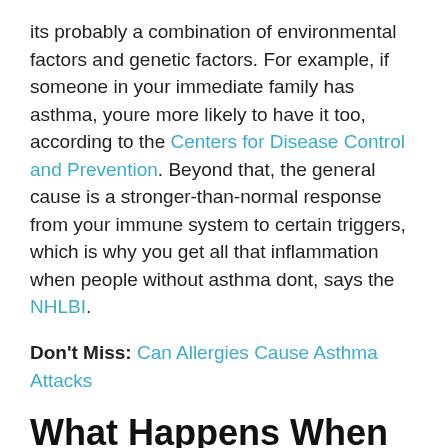its probably a combination of environmental factors and genetic factors. For example, if someone in your immediate family has asthma, youre more likely to have it too, according to the Centers for Disease Control and Prevention. Beyond that, the general cause is a stronger-than-normal response from your immune system to certain triggers, which is why you get all that inflammation when people without asthma dont, says the NHLBI.
Don't Miss: Can Allergies Cause Asthma Attacks
What Happens When You Use Too Much
Sometimes, when the attacks are severe, we may feel the urge to take more puffs from an inhaler than a doctor has prescribed. Taking too much of a certain inhaler is harmful. Th...